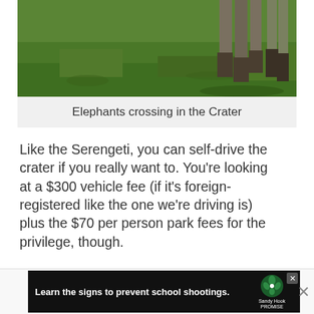[Figure (photo): Elephants crossing in the Crater — green grass field with elephant legs and boots visible at top]
Elephants crossing in the Crater
Like the Serengeti, you can self-drive the crater if you really want to. You're looking at a $300 vehicle fee (if it's foreign-registered like the one we're driving is) plus the $70 per person park fees for the privilege, though.